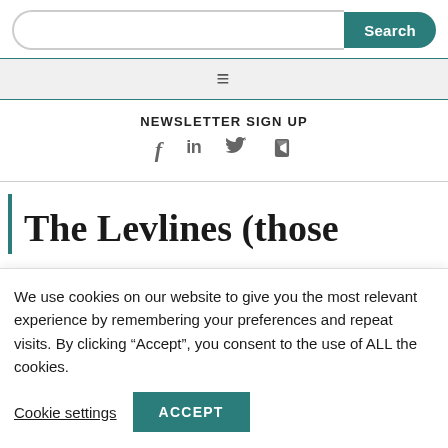Search bar with Search button
Navigation menu (hamburger icon)
NEWSLETTER SIGN UP
[Figure (other): Social media icons: Facebook (f), LinkedIn (in), Twitter (bird), YouTube (play button)]
The Levlines (those
We use cookies on our website to give you the most relevant experience by remembering your preferences and repeat visits. By clicking “Accept”, you consent to the use of ALL the cookies.
Cookie settings   ACCEPT